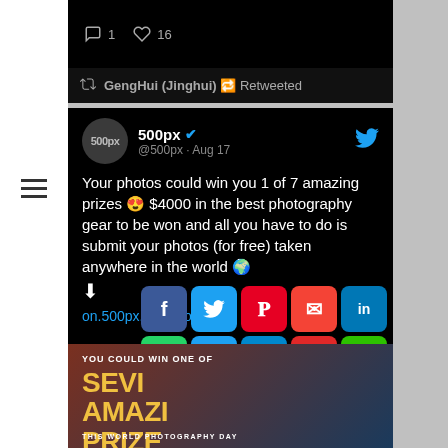1  ♡ 16
GengHui (Jinghui) 🔁 Retweeted
500px ✓  @500px · Aug 17
Your photos could win you 1 of 7 amazing prizes 😍 $4000 in the best photography gear to be won and all you have to do is submit your photos (for free) taken anywhere in the world 🌍 ⬇ on.500px.com/xjo
[Figure (screenshot): Social media share buttons overlay showing Facebook, Twitter, Pinterest, Email, LinkedIn, WhatsApp, Link, Telegram, Flipboard, WeChat, Gmail, and a plus button icons arranged in a 2x6 grid]
[Figure (photo): Promotional image with dark landscape background, yellow bold text reading SEVEN AMAZING PRIZES, and white text reading YOU COULD WIN ONE OF and THIS WORLD PHOTOGRAPHY DAY]